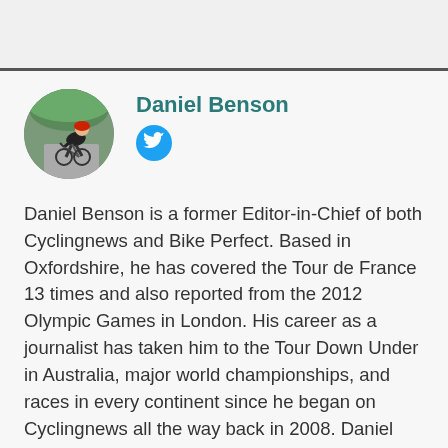[Figure (photo): Circular avatar photo of Daniel Benson, a cyclist on a road bike]
Daniel Benson
[Figure (logo): Twitter bird icon in a blue circle]
Daniel Benson is a former Editor-in-Chief of both Cyclingnews and Bike Perfect. Based in Oxfordshire, he has covered the Tour de France 13 times and also reported from the 2012 Olympic Games in London. His career as a journalist has taken him to the Tour Down Under in Australia, major world championships, and races in every continent since he began on Cyclingnews all the way back in 2008. Daniel runs the editorial teams across Cyclingnews and Bike